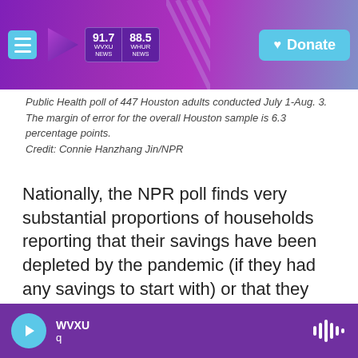WVXU 91.7 NEWS | WHUR 88.5 NEWS | Donate
Public Health poll of 447 Houston adults conducted July 1-Aug. 3. The margin of error for the overall Houston sample is 6.3 percentage points.
Credit: Connie Hanzhang Jin/NPR
Nationally, the NPR poll finds very substantial proportions of households reporting that their savings have been depleted by the pandemic (if they had any savings to start with) or that they have fallen behind on housing payments or have had problems paying debts and/or utility bills.
"Before federal coronavirus support programs even
WVXU q